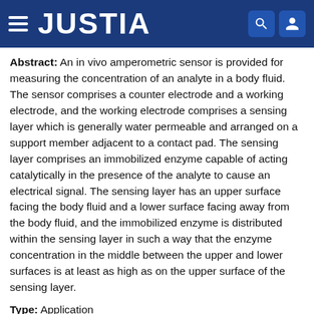JUSTIA
Abstract: An in vivo amperometric sensor is provided for measuring the concentration of an analyte in a body fluid. The sensor comprises a counter electrode and a working electrode, and the working electrode comprises a sensing layer which is generally water permeable and arranged on a support member adjacent to a contact pad. The sensing layer comprises an immobilized enzyme capable of acting catalytically in the presence of the analyte to cause an electrical signal. The sensing layer has an upper surface facing the body fluid and a lower surface facing away from the body fluid, and the immobilized enzyme is distributed within the sensing layer in such a way that the enzyme concentration in the middle between the upper and lower surfaces is at least as high as on the upper surface of the sensing layer.
Type: Application
Filed: December 19, 2008